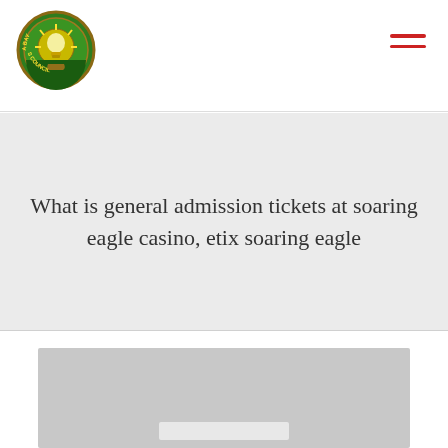[Figure (logo): Tampa Bay Inventors Council circular logo with lightbulb in center on green background]
What is general admission tickets at soaring eagle casino, etix soaring eagle
[Figure (photo): Gray placeholder image area]